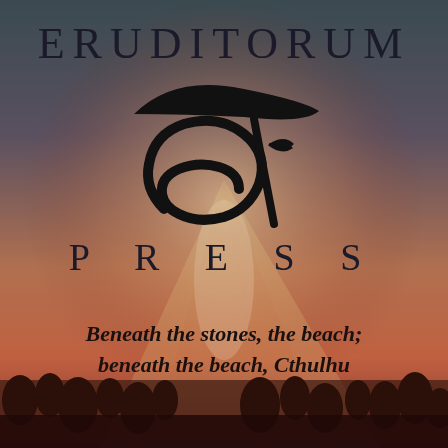[Figure (illustration): Background image showing a beach/coastal scene with warm reddish-brown tones, silhouettes of figures at the bottom, and rays of light emanating from center. Dark teal/grey tones at the top blending into warm amber and red at the bottom.]
ERUDITORUM
[Figure (logo): Eruditorum Press logo: a stylized calligraphic 'ep' monogram in black, featuring a curved elongated swoosh shape above and a circular cursive letter form below with a vertical stroke.]
P R E S S
Beneath the stones, the beach;
beneath the beach, Cthulhu